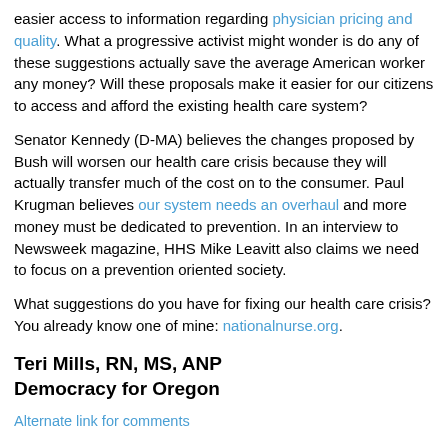easier access to information regarding physician pricing and quality. What a progressive activist might wonder is do any of these suggestions actually save the average American worker any money? Will these proposals make it easier for our citizens to access and afford the existing health care system?
Senator Kennedy (D-MA) believes the changes proposed by Bush will worsen our health care crisis because they will actually transfer much of the cost on to the consumer. Paul Krugman believes our system needs an overhaul and more money must be dedicated to prevention. In an interview to Newsweek magazine, HHS Mike Leavitt also claims we need to focus on a prevention oriented society.
What suggestions do you have for fixing our health care crisis? You already know one of mine: nationalnurse.org.
Teri Mills, RN, MS, ANP
Democracy for Oregon
Alternate link for comments